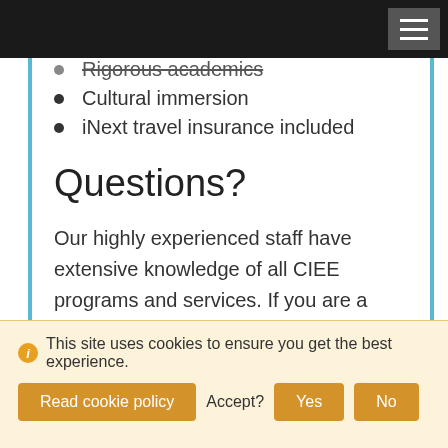Rigorous academics
Cultural immersion
iNext travel insurance included
Questions?
Our highly experienced staff have extensive knowledge of all CIEE programs and services. If you are a student with questions about completing your application, or you want to sign up to receive program updates and news, our staff are happy to help.
This site uses cookies to ensure you get the best experience.